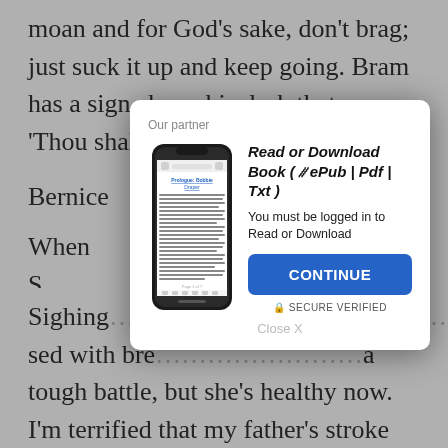moan and for God’s sake, don’t brag; just suck it up and keep going. Bram has a sign above his desk that says ‘Thou shalt not snivel.’”
Bernice
When S… friend’s … back to chewing…
“You’re…”
“I’m wo….
Sophie … Washbu… recent stroke.
Sighing … sed with bre… a tough battle, but she’s healthy now. I’m terrified that my father’s stroke could change all that. She’s suffered so much—the radiation, the chemotherapy, the hair loss, the nausea, and
[Figure (screenshot): Modal dialog overlay with phone image showing an ebook reader app. Title reads 'Read or Download Book (∥ePub | Pdf | Txt )'. Text says 'You must be logged in to Read or Download'. Blue CONTINUE button. 'SECURE VERIFIED' text and 'Close X' link. Header says 'Our partner'.]